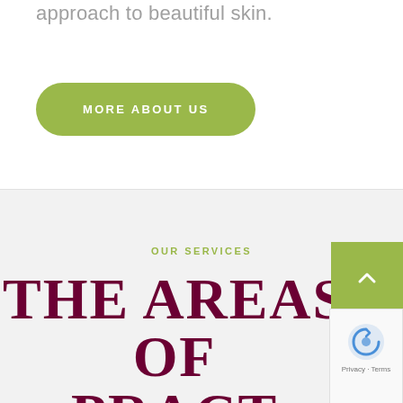approach to beautiful skin.
[Figure (other): Green rounded button with white uppercase text reading MORE ABOUT US]
OUR SERVICES
THE AREAS OF PRACTICE